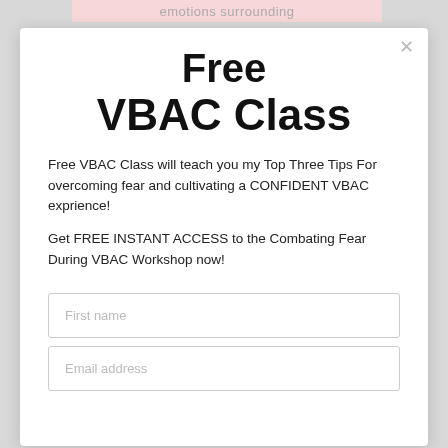emotions surrounding
Free VBAC Class
Free VBAC Class will teach you my Top Three Tips For overcoming fear and cultivating a CONFIDENT VBAC exprience!
Get FREE INSTANT ACCESS to the Combating Fear During VBAC Workshop now!
First name
Email address